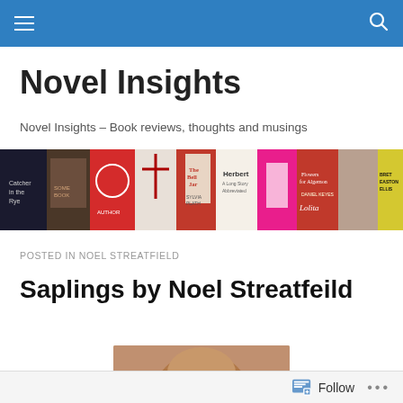Novel Insights (navigation bar with hamburger menu and search icon)
Novel Insights
Novel Insights – Book reviews, thoughts and musings
[Figure (photo): A horizontal banner showing a collage of book covers including The Bell Jar, Herbert, Lolita, Perfume, Flowers for Algernon, and others by authors including Bret Easton Ellis and Salman Rushdie.]
POSTED IN NOEL STREATFIELD
Saplings by Noel Streatfeild
[Figure (photo): Partial view of a book cover or illustration showing the top of a person's head.]
Follow  •••